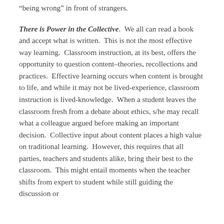being wrong” in front of strangers.
There is Power in the Collective.  We all can read a book and accept what is written.  This is not the most effective way learning.  Classroom instruction, at its best, offers the opportunity to question content–theories, recollections and practices.  Effective learning occurs when content is brought to life, and while it may not be lived-experience, classroom instruction is lived-knowledge.  When a student leaves the classroom fresh from a debate about ethics, s/he may recall what a colleague argued before making an important decision.  Collective input about content places a high value on traditional learning.  However, this requires that all parties, teachers and students alike, bring their best to the classroom.  This might entail moments when the teacher shifts from expert to student while still guiding the discussion or